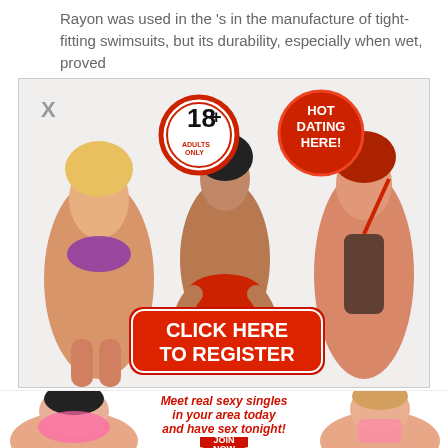Rayon was used in the 's in the manufacture of tight-fitting swimsuits, but its durability, especially when wet, proved
[Figure (advertisement): Adult dating advertisement banner with three female figures, an 18+ adults only badge, a HOT DATING HERE badge, and a red CLICK HERE TO REGISTER button]
[Figure (advertisement): Adult dating advertisement with two female figures on sides, red italic text 'Meet real sexy singles in your area today and have sex tonight!' and a red arrow-shaped JOIN NOW button]